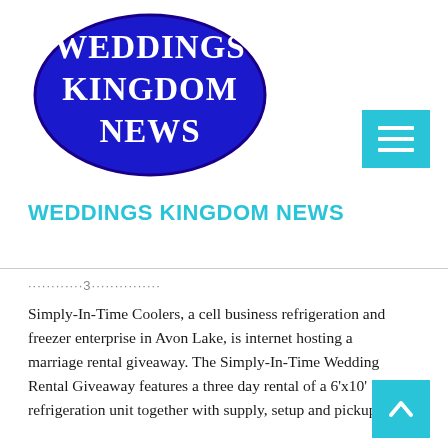[Figure (logo): Weddings Kingdom News logo: dark blue oval with white serif text reading WEDDINGS KINGDOM NEWS]
WEDDINGS KINGDOM NEWS
............3...............
Simply-In-Time Coolers, a cell business refrigeration and freezer enterprise in Avon Lake, is internet hosting a marriage rental giveaway. The Simply-In-Time Wedding Rental Giveaway features a three day rental of a 6'x10' refrigeration unit together with supply, setup and pickup...